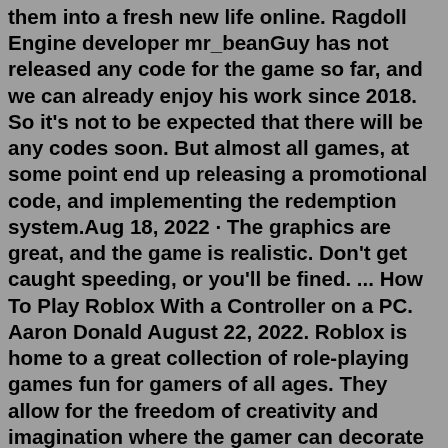them into a fresh new life online. Ragdoll Engine developer mr_beanGuy has not released any code for the game so far, and we can already enjoy his work since 2018. So it's not to be expected that there will be any codes soon. But almost all games, at some point end up releasing a promotional code, and implementing the redemption system.Aug 18, 2022 · The graphics are great, and the game is realistic. Don't get caught speeding, or you'll be fined. ... How To Play Roblox With a Controller on a PC. Aaron Donald August 22, 2022. Roblox is home to a great collection of role-playing games fun for gamers of all ages. They allow for the freedom of creativity and imagination where the gamer can decorate their own house, get a job to earn money, take care of pets, and make new friends. There is a game for everyone, waiting to immerse them into a fresh new life online. 10 Best Role-Playing Games on Roblox Your Bizarre Adventure. Your Bizarre Adventure created by Bizarre Studios is a unique experience set up like some of the... Brookhaven. Wolfpaq's Brookhaven is a